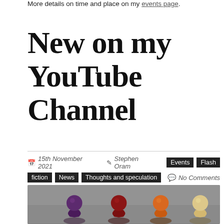More details on time and place on my events page.
New on my YouTube Channel
15th November 2021  Stephen Oram  Events  Flash fiction  News  Thoughts and speculation  No Comments
[Figure (photo): Four colourful game pawns (purple, dark red, orange, cream/yellow) lined up against a grey background]